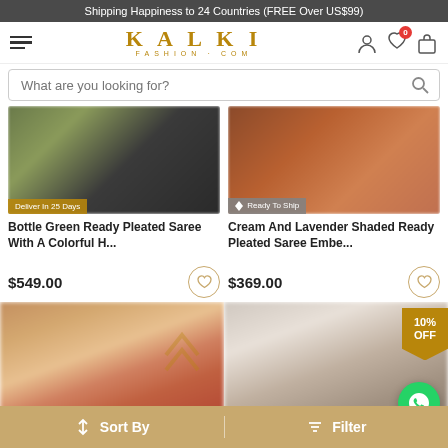Shipping Happiness to 24 Countries (FREE Over US$99)
[Figure (screenshot): Kalki Fashion website header with hamburger menu, logo, search bar, and nav icons]
[Figure (photo): Blurred product image - Bottle Green Ready Pleated Saree with delivery badge]
Bottle Green Ready Pleated Saree With A Colorful H...
$549.00
[Figure (photo): Blurred product image - Cream And Lavender Shaded Ready Pleated Saree with Ready To Ship badge]
Cream And Lavender Shaded Ready Pleated Saree Embe...
$369.00
[Figure (photo): Blurred photo of woman in red/orange saree]
[Figure (photo): Blurred photo of woman in light colored outfit with 10% OFF badge and WhatsApp button]
Sort By   Filter